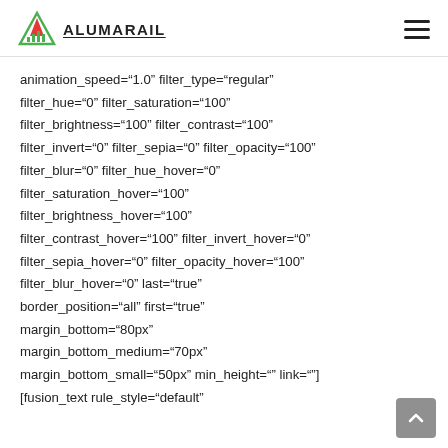ALUMARAIL
animation_speed="1.0" filter_type="regular" filter_hue="0" filter_saturation="100" filter_brightness="100" filter_contrast="100" filter_invert="0" filter_sepia="0" filter_opacity="100" filter_blur="0" filter_hue_hover="0" filter_saturation_hover="100" filter_brightness_hover="100" filter_contrast_hover="100" filter_invert_hover="0" filter_sepia_hover="0" filter_opacity_hover="100" filter_blur_hover="0" last="true" border_position="all" first="true" margin_bottom="80px" margin_bottom_medium="70px" margin_bottom_small="50px" min_height="" link=""] [fusion_text rule_style="default"